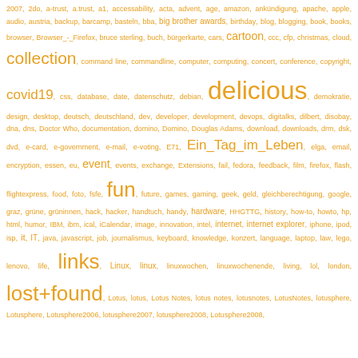[Figure (other): Tag cloud with words in varying sizes and orange/brown colors representing a personal blog or bookmarking site tag list. Words include: 2007, 2do, a-trust, a.trust, a1, accessability, acta, advent, age, amazon, ankündigung, apache, apple, audio, austria, backup, barcamp, basteln, bba, big brother awards, birthday, blog, blogging, book, books, browser, Browser_-_Firefox, bruce sterling, buch, bürgerkarte, cars, cartoon, ccc, cfp, christmas, cloud, collection, command line, commandline, computer, computing, concert, conference, copyright, covid19, css, database, date, datenschutz, debian, delicious, demokratie, design, desktop, deutsch, deutschland, dev, developer, development, devops, digitalks, dilbert, disobay, dna, dns, Doctor Who, documentation, domino, Domino, Douglas Adams, download, downloads, drm, dsk, dvd, e-card, e-government, e-mail, e-voting, E71, Ein_Tag_im_Leben, elga, email, encryption, essen, eu, event, events, exchange, Extensions, fail, fedora, feedback, film, firefox, flash, flightexpress, food, foto, fsfe, fun, future, games, gaming, geek, geld, gleichberechtigung, google, graz, grüne, grüninnen, hack, hacker, handtuch, handy, hardware, HHGTTG, history, how-to, howto, hp, html, humor, IBM, ibm, ical, iCalendar, image, innovation, intel, internet, internet explorer, iphone, ipod, isp, it, IT, java, javascript, job, journalismus, keyboard, knowledge, konzert, language, laptop, law, lego, lenovo, life, links, Linux, linux, linuxwochen, linuxwochenende, living, lol, london, lost+found, Lotus, lotus, Lotus Notes, lotus notes, lotusnotes, LotusNotes, lotusphere, Lotusphere, Lotusphere2006, lotusphere2007, lotusphere2008, Lotusphere2008]